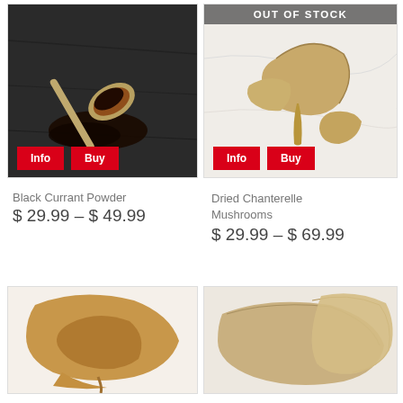[Figure (photo): A silver spoon with dark black currant powder spilled on a dark slate surface, showing Info and Buy buttons at bottom left]
[Figure (photo): Dried chanterelle mushrooms on a white marble surface with OUT OF STOCK banner at top, Info and Buy buttons at bottom]
Black Currant Powder
$ 29.99 – $ 49.99
Dried Chanterelle Mushrooms
$ 29.99 – $ 69.99
[Figure (photo): Dried chanterelle mushrooms on white background, partial view bottom of page]
[Figure (photo): Dried mushrooms on white background, partial view bottom of page]